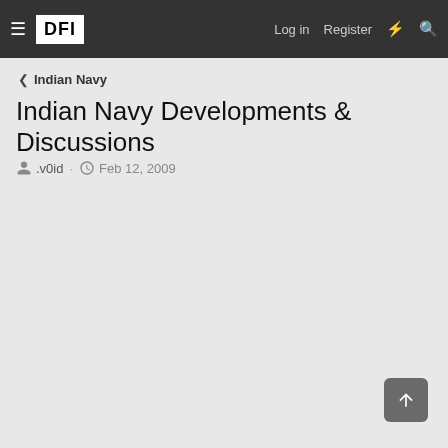≡ DFI  Log in  Register
< Indian Navy
Indian Navy Developments & Discussions
.v0id · Feb 12, 2009